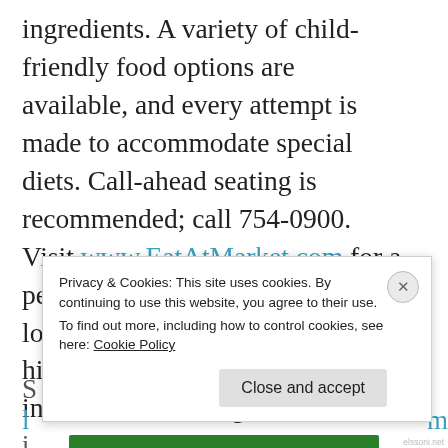ingredients. A variety of child-friendly food options are available, and every attempt is made to accommodate special diets. Call-ahead seating is recommended; call 754-0900. Visit www.EatAtMarket.com for a peek at the menu. Market is located at 938 N. Blount St. in the historic Mordecai neighborhood in downtown Raleigh.
S...
Privacy & Cookies: This site uses cookies. By continuing to use this website, you agree to their use. To find out more, including how to control cookies, see here: Cookie Policy